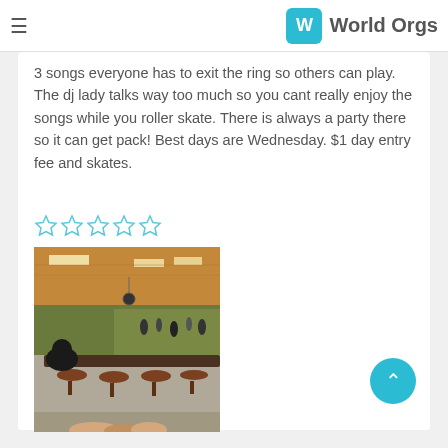World Orgs
3 songs everyone has to exit the ring so others can play. The dj lady talks way too much so you cant really enjoy the songs while you roller skate. There is always a party there so it can get pack! Best days are Wednesday. $1 day entry fee and skates.
[Figure (other): Star rating widget showing approximately 1 out of 5 stars (first star filled/highlighted in blue, remaining 4 stars empty/outline in light blue)]
[Figure (photo): Interior photo of a roller skating rink showing seating area with round stools and tables, a person sitting in the foreground, and the skating rink surface visible in the background with colorful lighting overhead.]